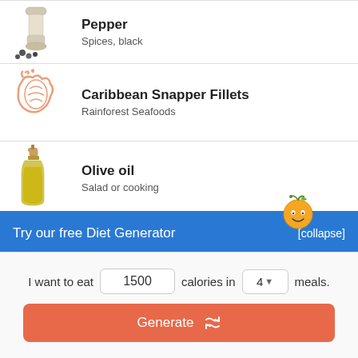Pepper / Spices, black
Caribbean Snapper Fillets / Rainforest Seafoods
Olive oil / Salad or cooking
Egg / Whole, fresh eggs
Try our free Diet Generator [collapse]
I want to eat 1500 calories in 4 meals.
Generate